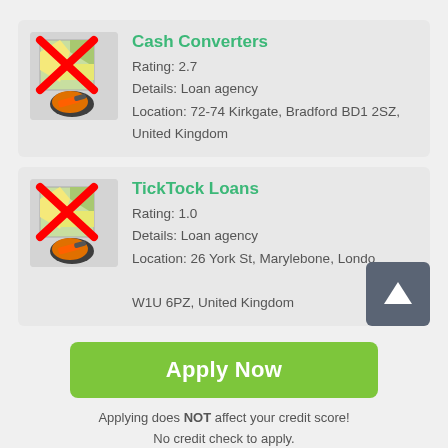[Figure (screenshot): Card showing Cash Converters listing with map icon crossed out, rating 2.7, loan agency details, and Bradford UK address]
Cash Converters
Rating: 2.7
Details: Loan agency
Location: 72-74 Kirkgate, Bradford BD1 2SZ, United Kingdom
[Figure (screenshot): Card showing TickTock Loans listing with map icon crossed out, rating 1.0, loan agency details, and London address]
TickTock Loans
Rating: 1.0
Details: Loan agency
Location: 26 York St, Marylebone, London W1U 6PZ, United Kingdom
Apply Now
Applying does NOT affect your credit score!
No credit check to apply.